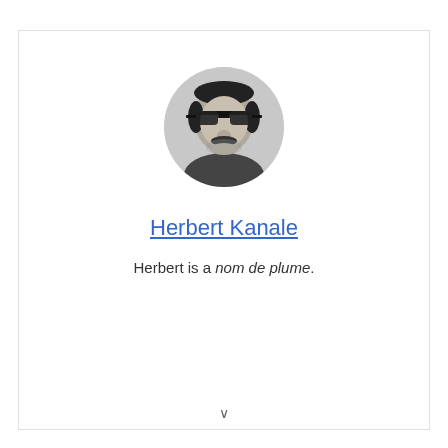[Figure (photo): Circular profile photo of a man with sunglasses and a mustache, black and white / grayscale]
Herbert Kanale
Herbert is a nom de plume.